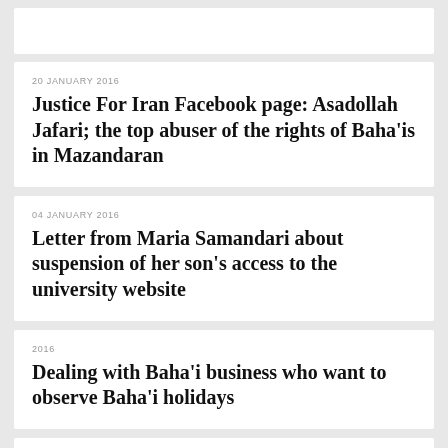20 JANUARY 2016
Justice For Iran Facebook page: Asadollah Jafari; the top abuser of the rights of Baha'is in Mazandaran
04 JANUARY 2016
Letter from Maria Samandari about suspension of her son's access to the university website
2016
Dealing with Baha'i business who want to observe Baha'i holidays
2016
Complaint by a group of Baha'is in Sari about